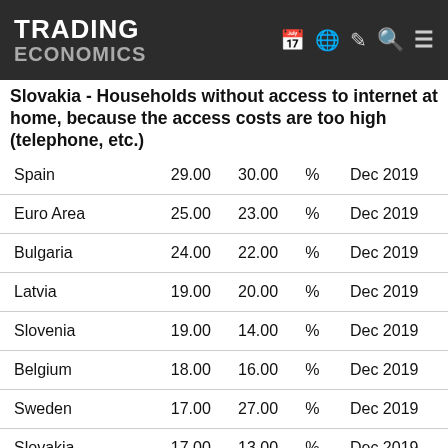TRADING ECONOMICS
Slovakia - Households without access to internet at home, because the access costs are too high (telephone, etc.)
| Country | Current | Previous | Unit | Date |
| --- | --- | --- | --- | --- |
| Spain | 29.00 | 30.00 | % | Dec 2019 |
| Euro Area | 25.00 | 23.00 | % | Dec 2019 |
| Bulgaria | 24.00 | 22.00 | % | Dec 2019 |
| Latvia | 19.00 | 20.00 | % | Dec 2019 |
| Slovenia | 19.00 | 14.00 | % | Dec 2019 |
| Belgium | 18.00 | 16.00 | % | Dec 2019 |
| Sweden | 17.00 | 27.00 | % | Dec 2019 |
| Slovakia | 17.00 | 13.00 | % | Dec 2019 |
| Lithuania | 17.00 | 21.00 | % | Dec 2019 |
| Italy | 14.00 | 16.00 | % | Dec 2019 |